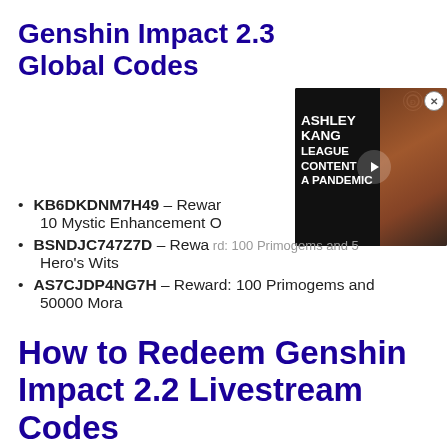Genshin Impact 2.3 Global Codes
[Figure (screenshot): Video overlay showing Ashley Kang League Content A Pandemic with a play button, close button, and coin icon]
KB6DKDNM7H49 – Reward: 10 Mystic Enhancement Ore
BSNDJC747Z7D – Reward: 100 Primogems and 5 Hero's Wits
AS7CJDP4NG7H – Reward: 100 Primogems and 50000 Mora
How to Redeem Genshin Impact 2.2 Livestream Codes